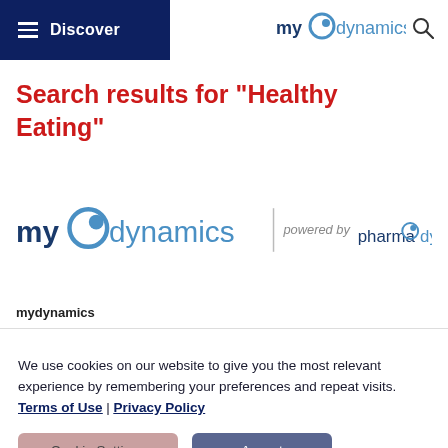Discover | my dynamics
Search results for "Healthy Eating"
[Figure (logo): my dynamics logo | powered by pharma dynamics logo]
mydynamics
We use cookies on our website to give you the most relevant experience by remembering your preferences and repeat visits. Terms of Use | Privacy Policy
Cookie Settings | Accept